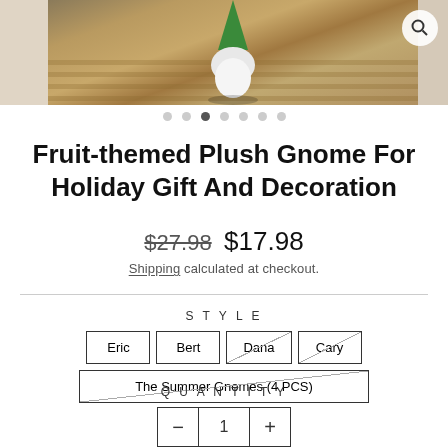[Figure (photo): Fruit-themed plush gnome product photo on wooden deck background, with magnify icon button. Image carousel with 7 dots indicator, third dot active.]
Fruit-themed Plush Gnome For Holiday Gift And Decoration
$27.98  $17.98  Shipping calculated at checkout.
STYLE  Options: Eric, Bert, Dana (unavailable), Cary (unavailable), The Summer Gnomes (4 PCS) (unavailable)
QUANTITY  1